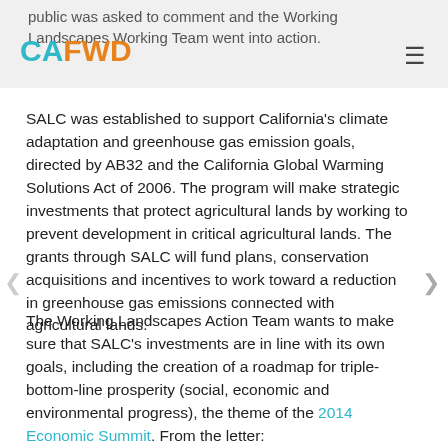public was asked to comment and the Working Landscapes Working Team went into action.
SALC was established to support California's climate adaptation and greenhouse gas emission goals, directed by AB32 and the California Global Warming Solutions Act of 2006. The program will make strategic investments that protect agricultural lands by working to prevent development in critical agricultural lands. The grants through SALC will fund plans, conservation acquisitions and incentives to work toward a reduction in greenhouse gas emissions connected with agricultural lands.
The Working Landscapes Action Team wants to make sure that SALC's investments are in line with its own goals, including the creation of a roadmap for triple-bottom-line prosperity (social, economic and environmental progress), the theme of the 2014 Economic Summit. From the letter: